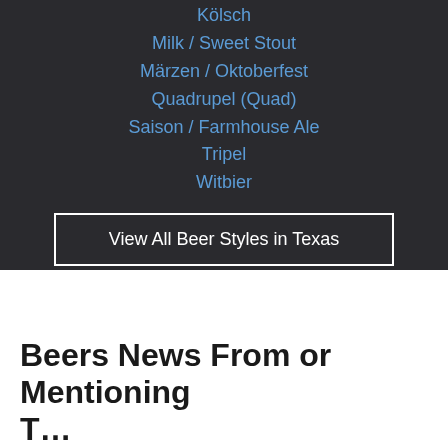Kölsch
Milk / Sweet Stout
Märzen / Oktoberfest
Quadrupel (Quad)
Saison / Farmhouse Ale
Tripel
Witbier
View All Beer Styles in Texas
Beers News From or Mentioning T…